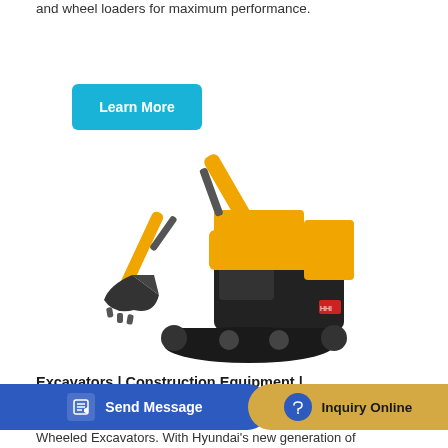and wheel loaders for maximum performance.
[Figure (illustration): Yellow construction excavator with black tracks and bucket arm raised, shown in profile view on white background]
Excavators | Construction Equipment |
[Figure (screenshot): Blue 'Send Message' button with edit icon on the left side and gold/tan 'Inquiry Online' button with blue headset icon on the right side]
Wheeled Excavators. With Hyundai's new generation of